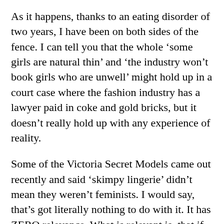As it happens, thanks to an eating disorder of two years, I have been on both sides of the fence. I can tell you that the whole ‘some girls are natural thin’ and ‘the industry won’t book girls who are unwell’ might hold up in a court case where the fashion industry has a lawyer paid in coke and gold bricks, but it doesn’t really hold up with any experience of reality.
Some of the Victoria Secret Models came out recently and said ‘skimpy lingerie’ didn’t mean they weren’t feminists. I would say, that’s got literally nothing to do with it. It has ZERO relevance. What is relevant is, that if you are in the modelling world, your priority is not giving a fuck about the daily degradation of women. You tell yourself that you don’t feel complicit because it’s just a habit. I...